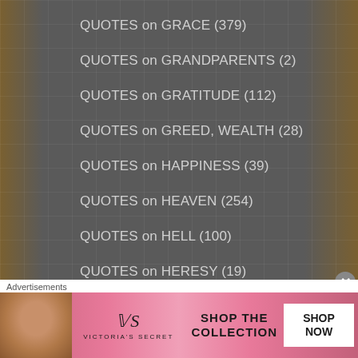QUOTES on GRACE (379)
QUOTES on GRANDPARENTS (2)
QUOTES on GRATITUDE (112)
QUOTES on GREED, WEALTH (28)
QUOTES on HAPPINESS (39)
QUOTES on HEAVEN (254)
QUOTES on HELL (100)
QUOTES on HERESY (19)
QUOTES on HOPE (143)
QUOTES on HUMAN DIGNITY (34)
QUOTES on HUMILITY (360)
Advertisements
[Figure (photo): Victoria's Secret advertisement banner with model photo, VS logo, 'SHOP THE COLLECTION' text, and 'SHOP NOW' button]